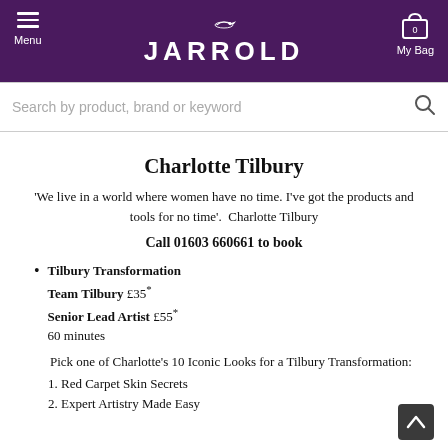JARROLD — Menu / My Bag navigation header
Search by product, brand or keyword
Charlotte Tilbury
'We live in a world where women have no time. I've got the products and tools for no time'.  Charlotte Tilbury
Call 01603 660661 to book
Tilbury Transformation
Team Tilbury £35*
Senior Lead Artist £55*
60 minutes
Pick one of Charlotte's 10 Iconic Looks for a Tilbury Transformation:
1. Red Carpet Skin Secrets
2. Expert Artistry Made Easy